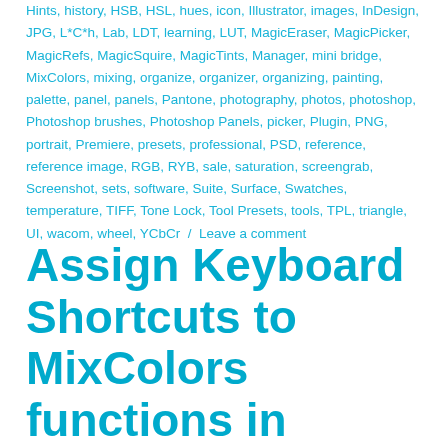Hints, history, HSB, HSL, hues, icon, Illustrator, images, InDesign, JPG, L*C*h, Lab, LDT, learning, LUT, MagicEraser, MagicPicker, MagicRefs, MagicSquire, MagicTints, Manager, mini bridge, MixColors, mixing, organize, organizer, organizing, painting, palette, panel, panels, Pantone, photography, photos, photoshop, Photoshop brushes, Photoshop Panels, picker, Plugin, PNG, portrait, Premiere, presets, professional, PSD, reference, reference image, RGB, RYB, sale, saturation, screengrab, Screenshot, sets, software, Suite, Surface, Swatches, temperature, TIFF, Tone Lock, Tool Presets, tools, TPL, triangle, UI, wacom, wheel, YCbCr / Leave a comment
Assign Keyboard Shortcuts to MixColors functions in Adobe Photoshop